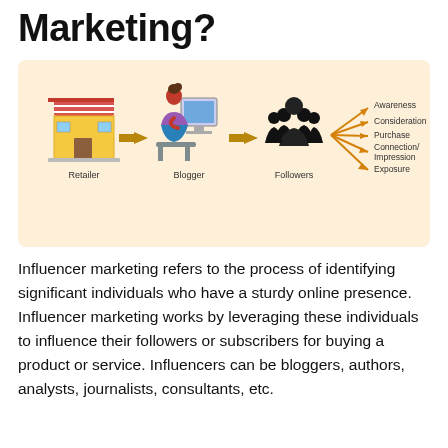Marketing?
[Figure (infographic): Influencer marketing flow diagram showing: Retailer (store icon) → Blogger (person at computer) → Followers (group of people icon) → branching arrows to: Awareness, Consideration, Purchase, Connection/Impression, Exposure]
Influencer marketing refers to the process of identifying significant individuals who have a sturdy online presence. Influencer marketing works by leveraging these individuals to influence their followers or subscribers for buying a product or service. Influencers can be bloggers, authors, analysts, journalists, consultants, etc.